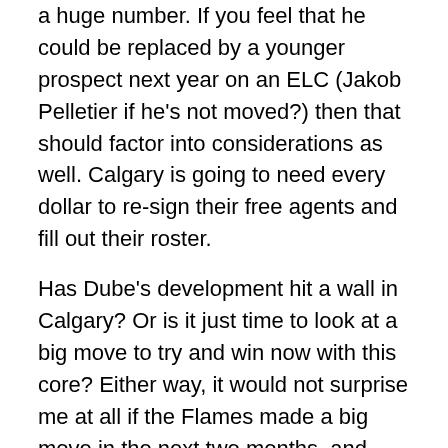a huge number. If you feel that he could be replaced by a younger prospect next year on an ELC (Jakob Pelletier if he's not moved?) then that should factor into considerations as well. Calgary is going to need every dollar to re-sign their free agents and fill out their roster.
Has Dube's development hit a wall in Calgary? Or is it just time to look at a big move to try and win now with this core? Either way, it would not surprise me at all if the Flames made a big move in the next two months, and Dillon Dube was a part of the package heading out of Calgary. It would really suck as he's a Cochrane native and a player that fans like, but it's a business and the Flames have to be willing to do whatever it takes to win this year. Dube may just be a casualty of that.